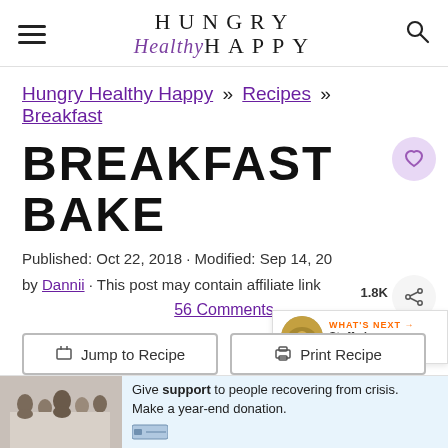HUNGRY Healthy HAPPY
Hungry Healthy Happy » Recipes » Breakfast
BREAKFAST BAKE
Published: Oct 22, 2018 · Modified: Sep 14, 20 by Dannii · This post may contain affiliate link
56 Comments
Jump to Recipe  Print Recipe
Give support to people recovering from crisis. Make a year-end donation.